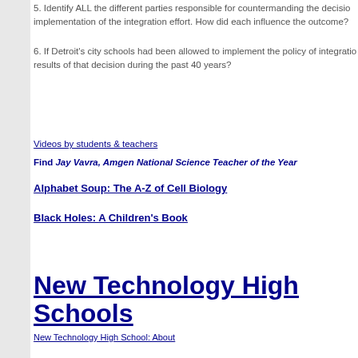5. Identify ALL the different parties responsible for countermanding the decision... implementation of the integration effort. How did each influence the outcome?
6. If Detroit's city schools had been allowed to implement the policy of integratio... results of that decision during the past 40 years?
Videos by students & teachers
Find Jay Vavra, Amgen National Science Teacher of the Year
Alphabet Soup: The A-Z of Cell Biology
Black Holes: A Children's Book
New Technology High Schools
New Technology High School: About